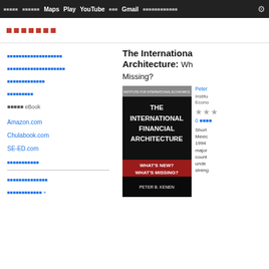Maps Play YouTube Gmail
The International Financial Architecture: What's New? What's Missing?
[Figure (photo): Book cover of 'The International Financial Architecture: What's New? What's Missing?' by Peter B. Kenen, published by Institute for International Economics. Cover shows dark background with title text and a red banner reading 'What's New? What's Missing?']
Short description mentioning Mexico, 1994, major countries, under, strength
Amazon.com
Chulabook.com
SE-ED.com